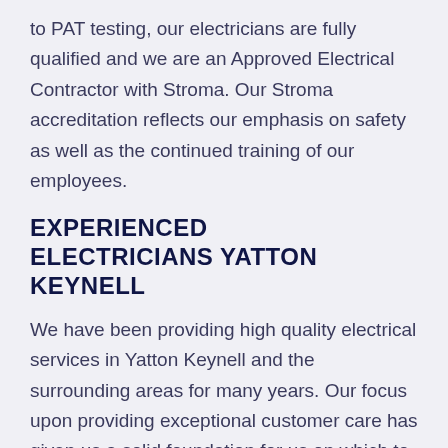to PAT testing, our electricians are fully qualified and we are an Approved Electrical Contractor with Stroma. Our Stroma accreditation reflects our emphasis on safety as well as the continued training of our employees.
EXPERIENCED ELECTRICIANS YATTON KEYNELL
We have been providing high quality electrical services in Yatton Keynell and the surrounding areas for many years. Our focus upon providing exceptional customer care has given us a solid foundation for us on which to build a successful local company, offering a professional yet highly personal service that many others do not supply.